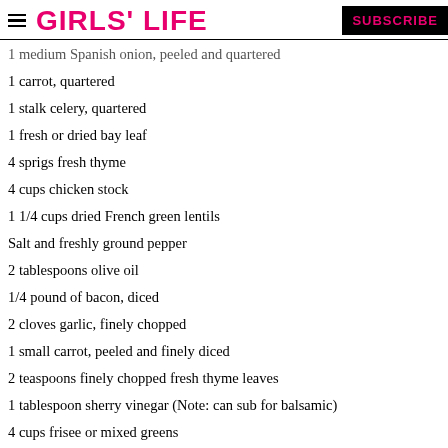GIRLS' LIFE  SUBSCRIBE
1 medium Spanish onion, peeled and quartered
1 carrot, quartered
1 stalk celery, quartered
1 fresh or dried bay leaf
4 sprigs fresh thyme
4 cups chicken stock
1 1/4 cups dried French green lentils
Salt and freshly ground pepper
2 tablespoons olive oil
1/4 pound of bacon, diced
2 cloves garlic, finely chopped
1 small carrot, peeled and finely diced
2 teaspoons finely chopped fresh thyme leaves
1 tablespoon sherry vinegar (Note: can sub for balsamic)
4 cups frisee or mixed greens
French bread for serving